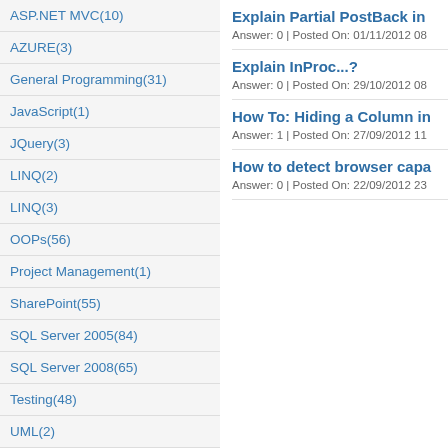ASP.NET MVC(10)
AZURE(3)
General Programming(31)
JavaScript(1)
JQuery(3)
LINQ(2)
LINQ(3)
OOPs(56)
Project Management(1)
SharePoint(55)
SQL Server 2005(84)
SQL Server 2008(65)
Testing(48)
UML(2)
Explain Partial PostBack in
Answer: 0  |  Posted On: 01/11/2012 08
Explain InProc...?
Answer: 0  |  Posted On: 29/10/2012 08
How To: Hiding a Column in
Answer: 1  |  Posted On: 27/09/2012 11
How to detect browser capa
Answer: 0  |  Posted On: 22/09/2012 23